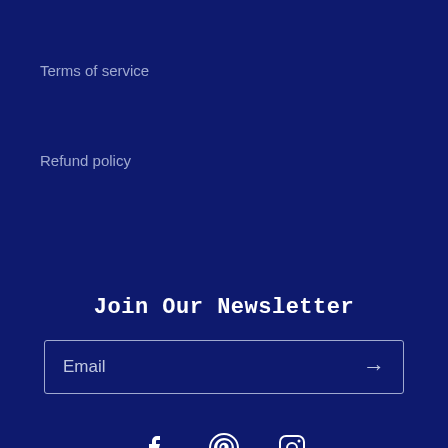Terms of service
Refund policy
Join Our Newsletter
Email
[Figure (infographic): Social media icons: Facebook, Pinterest, Instagram]
Country/region
United States (USD $)